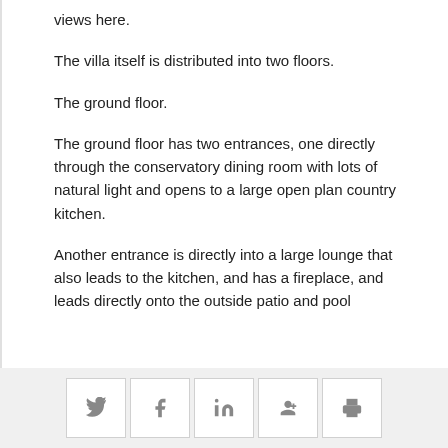views here.
The villa itself is distributed into two floors.
The ground floor.
The ground floor has two entrances, one directly through the conservatory dining room with lots of natural light and opens to a large open plan country kitchen.
Another entrance is directly into a large lounge that also leads to the kitchen, and has a fireplace, and leads directly onto the outside patio and pool
Social share icons: Twitter, Facebook, LinkedIn, Google+, Print